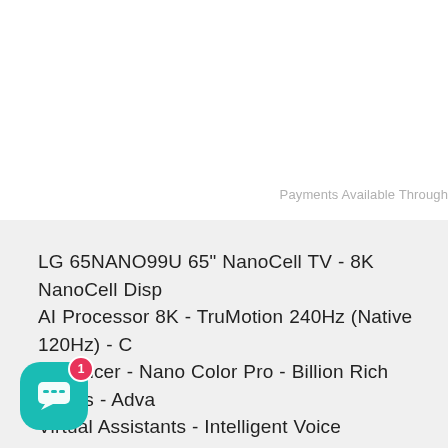Payments Available Through
LG 65NANO99U 65" NanoCell TV - 8K NanoCell Display - AI Processor 8K - TruMotion 240Hz (Native 120Hz) - Color Enhancer - Nano Color Pro - Billion Rich Colors - Advanced Virtual Assistants - Intelligent Voice Recognition - Home Store - LG Channels - Full Web Browser - Sports Alert - Surround Sound - LG Sound Synce - Bluetooth Surround - eARC - Wifi - 5.0 Bluetooth - Smart Phone - 5 Phones - RS-232C - VESA (400mm x 400mm) - (5